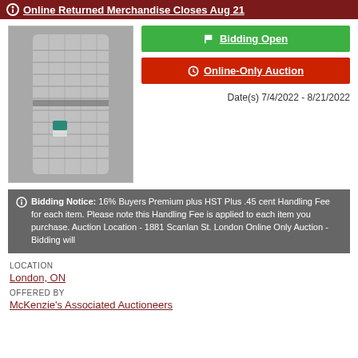Online Returned Merchandise Closes Aug 21
[Figure (photo): Photo of a bundle of returned merchandise – white/grey mop-like textile items wrapped and stacked.]
Bidding Open
Online-Only Auction
Date(s) 7/4/2022 - 8/21/2022
Bidding Notice: 16% Buyers Premium plus HST Plus .45 cent Handling Fee for each item. Please note this Handling Fee is applied to each item you purchase. Auction Location - 1881 Scanlan St. London Online Only Auction - Bidding will
LOCATION
London, ON
OFFERED BY
McKenzie's Associated Auctioneers